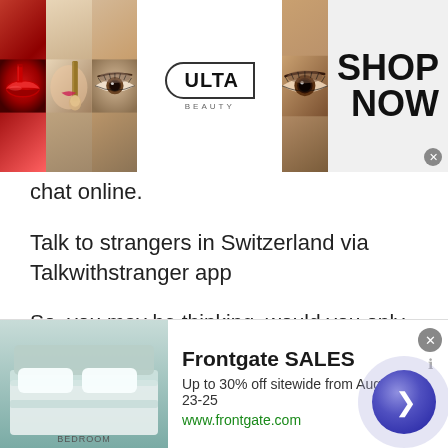[Figure (screenshot): Ulta Beauty advertisement banner with makeup product images (lips, brush, eye, Ulta Beauty logo, eye close-up), and 'SHOP NOW' call to action with close button]
chat online.
Talk to strangers in Switzerland via Talkwithstranger app
So, you may be thinking, would you only choose to talk to people of Switzerland? Well, it's not the case. Talkwithstranger country specific chat rooms are specifically designed to talk to your favorite country people. So, whether you live abroad or in an Asian country, you have a lot of choices of country-
[Figure (screenshot): Frontgate SALES advertisement: bedroom image, 'Frontgate SALES', 'Up to 30% off sitewide from August 23-25', 'www.frontgate.com', close button, navigation arrow button]